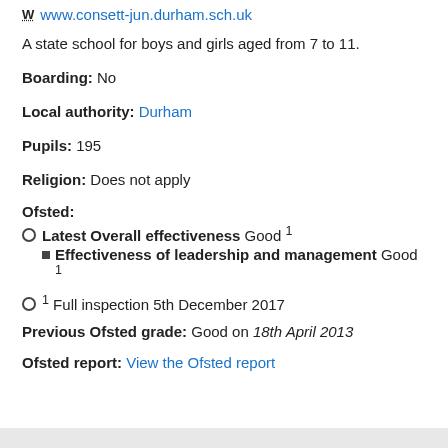W www.consett-jun.durham.sch.uk
A state school for boys and girls aged from 7 to 11.
Boarding: No
Local authority: Durham
Pupils: 195
Religion: Does not apply
Ofsted: Latest Overall effectiveness Good 1 Effectiveness of leadership and management Good 1 1 Full inspection 5th December 2017
Previous Ofsted grade: Good on 18th April 2013
Ofsted report: View the Ofsted report